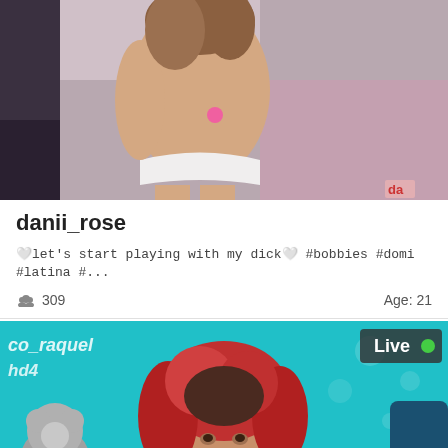[Figure (photo): Webcam stream thumbnail showing a person in white underwear from behind, in a bedroom setting. Small pink toy visible. Partial watermark 'da' in bottom right corner.]
danii_rose
🤍let's start playing with my dick🤍 #bobbies #domi #latina #...
309  Age: 21
[Figure (photo): Live webcam stream of a woman with red curly hair wearing a white patterned top, sitting in a room with teal background and stuffed animals. 'Live' badge with green dot in top right. Text overlay 'co_raquel' and 'hd4' on left side.]